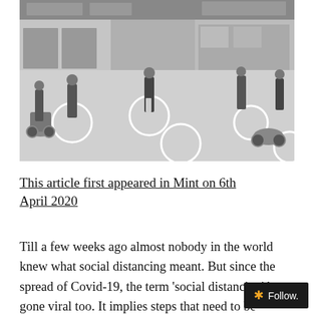[Figure (photo): Black and white photograph of people standing in white painted circles on a street outside market shops, practicing social distancing. Motorcycles and scooters visible in the background. Signboards in Gujarati script above the shops.]
This article first appeared in Mint on 6th April 2020
Till a few weeks ago almost nobody in the world knew what social distancing meant. But since the spread of Covid-19, the term ‘social distancing’ has gone viral too. It implies steps that need to be taken to prevent the spread of contagion...